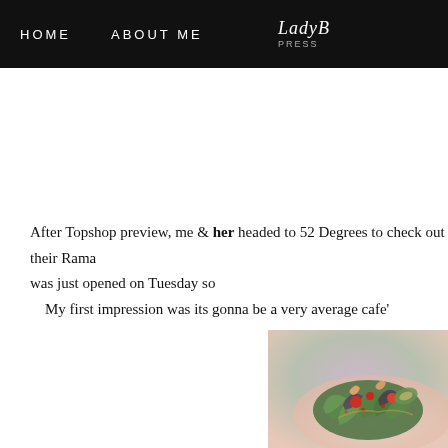HOME   ABOUT ME   LadyB PRESS
After Topshop preview, me & her headed to 52 Degrees to check out their Rama... was just opened on Tuesday so My first impression was its gonna be a very average cafe'
[Figure (photo): Photo of a colorful salad dish with greens, tomatoes, and garnishes on a pink/purple lit plate]